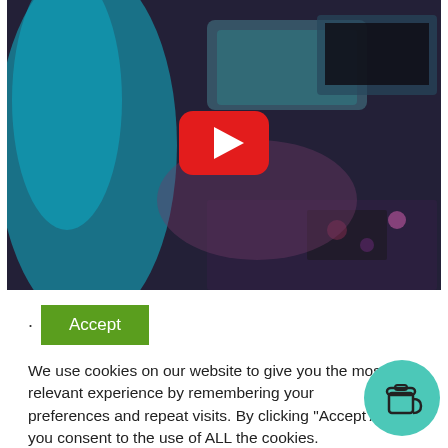[Figure (screenshot): Blurred YouTube video thumbnail showing a dark neon-lit scene with a person in cyan/blue on the left and computer monitors in background. A red YouTube play button is centered on the image.]
Accept
We use cookies on our website to give you the most relevant experience by remembering your preferences and repeat visits. By clicking "Accept All", you consent to the use of ALL the cookies.
[Figure (illustration): Teal circular badge with a coffee cup / takeaway cup icon in the bottom right corner of the page.]